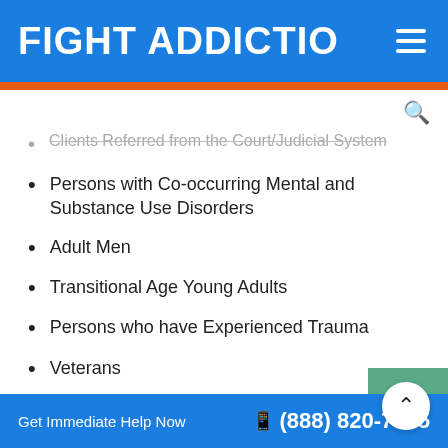FIGHT ADDICTIO
Clients Referred from the Court/Judicial System
Persons with Co-occurring Mental and Substance Use Disorders
Adult Men
Transitional Age Young Adults
Persons who have Experienced Trauma
Veterans
Adult Women
Get Immediate Help Now  (888) 820-7985